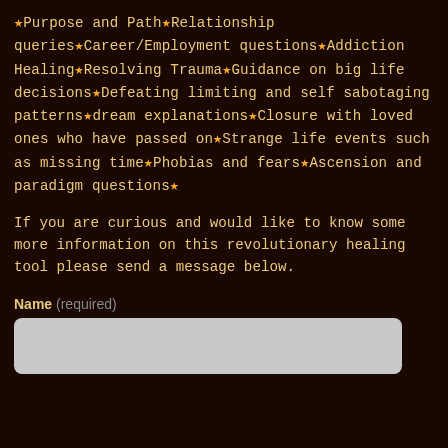★Purpose and Path★Relationship queries★Career/Employment questions★Addiction Healing★Resolving Trauma★Guidance on big life decisions★Defeating limiting and self sabotaging patterns★dream explanations★Closure with loved ones who have passed on★Strange life events such as missing time★Phobias and fears★Ascension and paradigm questions★
If you are curious and would like to know some more information on this revolutionary healing tool please send a message below.